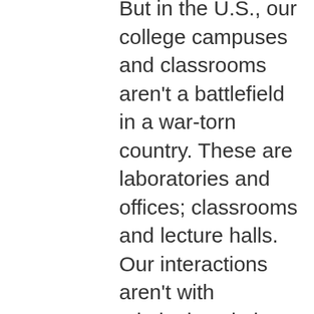But in the U.S., our college campuses and classrooms aren't a battlefield in a war-torn country. These are laboratories and offices; classrooms and lecture halls. Our interactions aren't with criminals pointing guns at our hearts, protected by bulletproof vests. We ask questions, discuss ideas, and seek answers. We aren't confronted with human suffering on hospital beds or in court houses. We're holding pipettes and teaching students; staring into laptop screens and exploring rainforests.